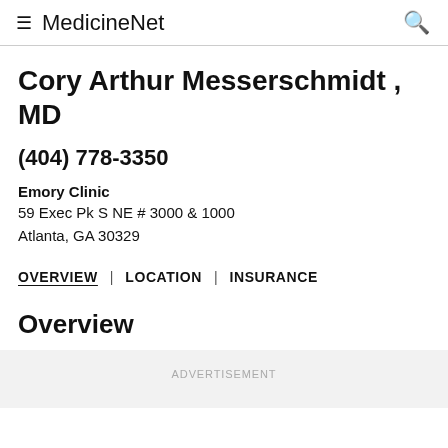≡ MedicineNet 🔍
Cory Arthur Messerschmidt , MD
(404) 778-3350
Emory Clinic
59 Exec Pk S NE # 3000 & 1000
Atlanta, GA 30329
OVERVIEW  |  LOCATION  |  INSURANCE
Overview
ADVERTISEMENT